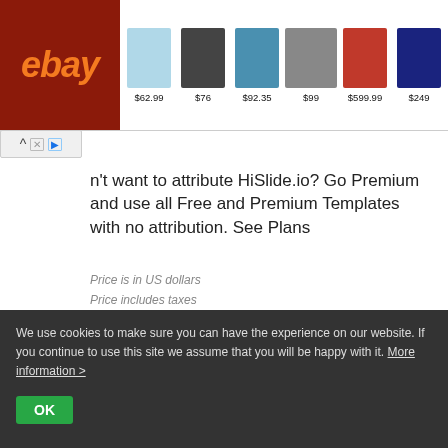[Figure (screenshot): eBay advertisement banner showing product images with prices: $62.99 (reciprocating saw), $76 (speaker), $92.35 (tool kit), $99 (sunglasses), $599.99 (laptop), $249 (laptop)]
Don't want to attribute HiSlide.io? Go Premium and use all Free and Premium Templates with no attribution. See Plans
Price is in US dollars
Price includes taxes
Other Templates your might like
We use cookies to make sure you can have the experience on our website. If you continue to use this site we assume that you will be happy with it. More information >
OK